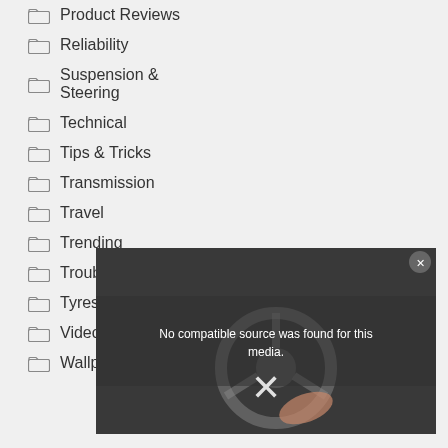Product Reviews
Reliability
Suspension & Steering
Technical
Tips & Tricks
Transmission
Travel
Trending
Troubleshooting
Tyres
Video
Wallpaper
[Figure (screenshot): Video player overlay showing 'No compatible source was found for this media.' with a steering wheel car interior background and an X close button]